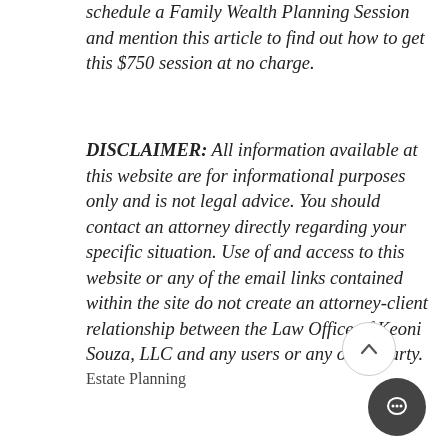schedule a Family Wealth Planning Session and mention this article to find out how to get this $750 session at no charge.
DISCLAIMER: All information available at this website are for informational purposes only and is not legal advice. You should contact an attorney directly regarding your specific situation. Use of and access to this website or any of the email links contained within the site do not create an attorney-client relationship between the Law Office of Keoni Souza, LLC and any users or any other party.
Estate Planning